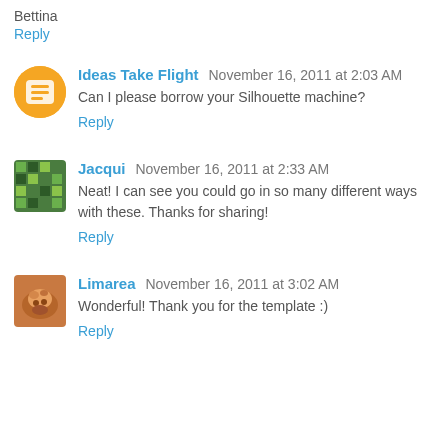Bettina
Reply
Ideas Take Flight   November 16, 2011 at 2:03 AM
Can I please borrow your Silhouette machine?
Reply
Jacqui   November 16, 2011 at 2:33 AM
Neat! I can see you could go in so many different ways with these. Thanks for sharing!
Reply
Limarea   November 16, 2011 at 3:02 AM
Wonderful! Thank you for the template :)
Reply